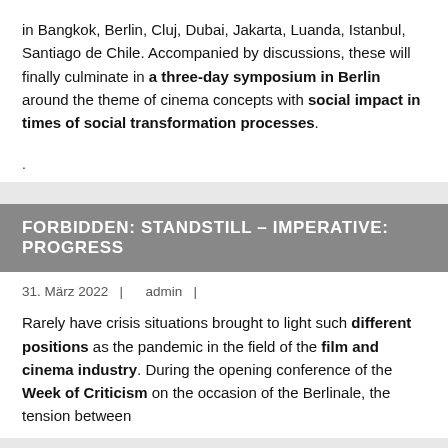in Bangkok, Berlin, Cluj, Dubai, Jakarta, Luanda, Istanbul, Santiago de Chile. Accompanied by discussions, these will finally culminate in a three-day symposium in Berlin around the theme of cinema concepts with social impact in times of social transformation processes.
.
FORBIDDEN: STANDSTILL – IMPERATIVE: PROGRESS
31. März 2022  |  admin  |
Rarely have crisis situations brought to light such different positions as the pandemic in the field of the film and cinema industry. During the opening conference of the Week of Criticism on the occasion of the Berlinale, the tension between